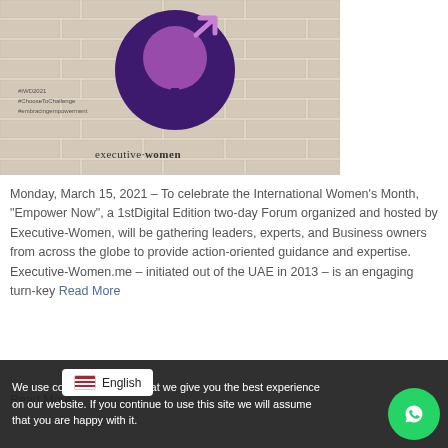[Figure (illustration): Executive-Women event banner with purple female symbol logo on brick wall background with hashtags #IWD2021 #ChooseToChallenge #EmbraceEmpowerment and executive-women logo]
Monday, March 15, 2021 – To celebrate the International Women's Month, "Empower Now", a 1stDigital Edition two-day Forum organized and hosted by Executive-Women, will be gathering leaders, experts, and Business owners from across the globe to provide action-oriented guidance and expertise. Executive-Women.me – initiated out of the UAE in 2013 – is an engaging turn-key Read More
Read More
We use cookies to ensure that we give you the best experience on our website. If you continue to use this site we will assume that you are happy with it.